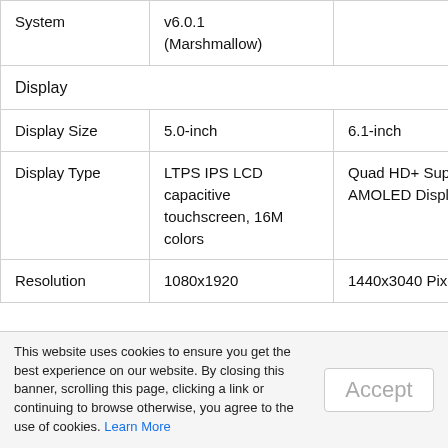|  |  |  |
| --- | --- | --- |
| System | v6.0.1
(Marshmallow) |  |
| Display |  |  |
| Display Size | 5.0-inch | 6.1-inch |
| Display Type | LTPS IPS LCD capacitive touchscreen, 16M colors | Quad HD+ Super AMOLED Display |
| Resolution | 1080x1920 | 1440x3040 Pixels |
This website uses cookies to ensure you get the best experience on our website. By closing this banner, scrolling this page, clicking a link or continuing to browse otherwise, you agree to the use of cookies. Learn More